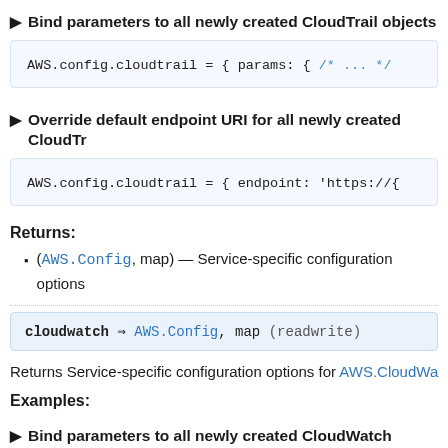▶ Bind parameters to all newly created CloudTrail objects
AWS.config.cloudtrail = { params: { /* ... */
▶ Override default endpoint URI for all newly created CloudTrail objects
AWS.config.cloudtrail = { endpoint: 'https://...
Returns:
(AWS.Config, map) — Service-specific configuration options
cloudwatch ⇒ AWS.Config, map (readwrite)
Returns Service-specific configuration options for AWS.CloudWatch
Examples:
▶ Bind parameters to all newly created CloudWatch objects